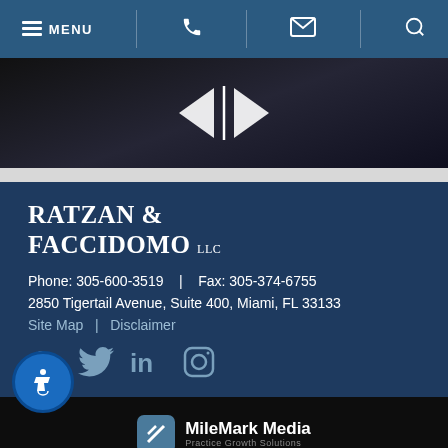MENU | Phone | Email | Search
[Figure (logo): Law firm logo: diamond/arrow shaped white logo on dark background]
RATZAN & FACCIDOMO LLC
Phone: 305-600-3519  |  Fax: 305-374-6755
2850 Tigertail Avenue, Suite 400, Miami, FL 33133
Site Map  |  Disclaimer
[Figure (illustration): Social media icons: Facebook, Twitter, LinkedIn, Instagram]
[Figure (logo): MileMark Media - Practice Growth Solutions logo]
© 2018 - 2022 Ratzan & Faccidomo, LLC, Attorneys at Law. All rights reserved. This law firm website and legal marketing are managed by